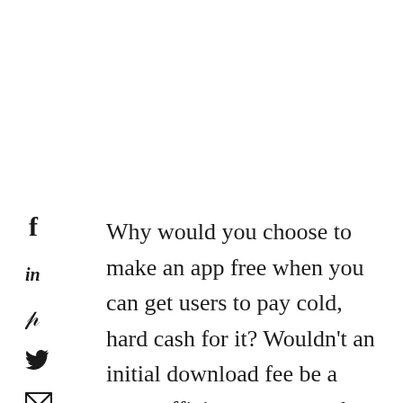[Figure (other): Social media share icons: Facebook, LinkedIn, Pinterest, Twitter, and a newsletter/mail icon arranged vertically]
Why would you choose to make an app free when you can get users to pay cold, hard cash for it? Wouldn't an initial download fee be a more efficient way to make money from a product?